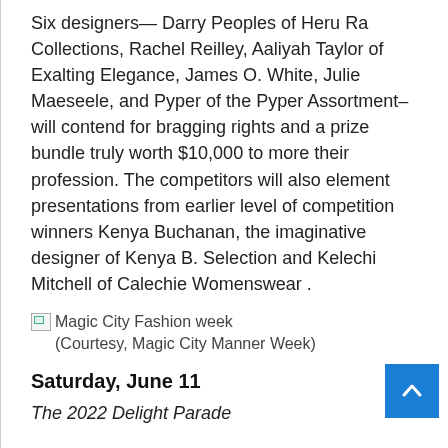Six designers— Darry Peoples of Heru Ra Collections, Rachel Reilley, Aaliyah Taylor of Exalting Elegance, James O. White, Julie Maeseele, and Pyper of the Pyper Assortment– will contend for bragging rights and a prize bundle truly worth $10,000 to more their profession. The competitors will also element presentations from earlier level of competition winners Kenya Buchanan, the imaginative designer of Kenya B. Selection and Kelechi Mitchell of Calechie Womenswear .
Magic City Fashion week (Courtesy, Magic City Manner Week)
Saturday, June 11
The 2022 Delight Parade